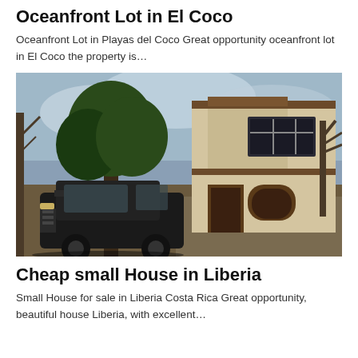Oceanfront Lot in El Coco
Oceanfront Lot in Playas del Coco Great opportunity oceanfront lot in El Coco the property is…
[Figure (photo): Photo of a two-story white stucco house with dark trim and a black SUV parked in front, surrounded by trees with dry branches]
Cheap small House in Liberia
Small House for sale in Liberia Costa Rica Great opportunity, beautiful house Liberia, with excellent…